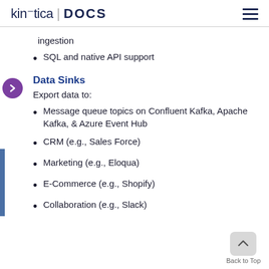kinetica | DOCS
ingestion
SQL and native API support
Data Sinks
Export data to:
Message queue topics on Confluent Kafka, Apache Kafka, & Azure Event Hub
CRM (e.g., Sales Force)
Marketing (e.g., Eloqua)
E-Commerce (e.g., Shopify)
Collaboration (e.g., Slack)